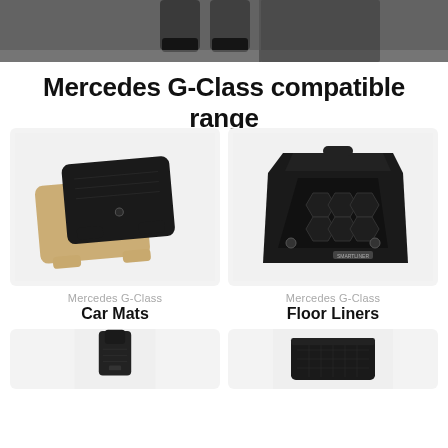[Figure (photo): Top banner photo showing person's legs/feet stepping out of a vehicle onto pavement]
Mercedes G-Class compatible range
[Figure (photo): Car mats product image - two car mats stacked, one black carpet mat and one tan/beige mat]
Mercedes G-Class
Car Mats
[Figure (photo): Floor liners product image - black 3D molded rubber floor liner with hexagonal pattern]
Mercedes G-Class
Floor Liners
[Figure (photo): Seat covers product image - black seat cover on car seat, partially shown at bottom of page]
[Figure (photo): Cargo/boot liner product image - black tray-style cargo liner, partially shown at bottom of page]